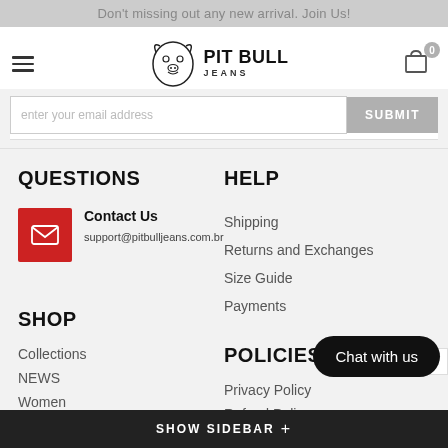Don't missing out any new arrival. Join Us!
[Figure (logo): Pit Bull Jeans logo with dog head illustration]
QUESTIONS
Contact Us
support@pitbulljeans.com.br
HELP
Shipping
Returns and Exchanges
Size Guide
Payments
SHOP
Collections
NEWS
Women
Men
Accessories
Outlet
Premium
POLICIES
Privacy Policy
Refund Policy
Terms & Conditions
Cookie Policy
Accessibility
SHOW SIDEBAR +